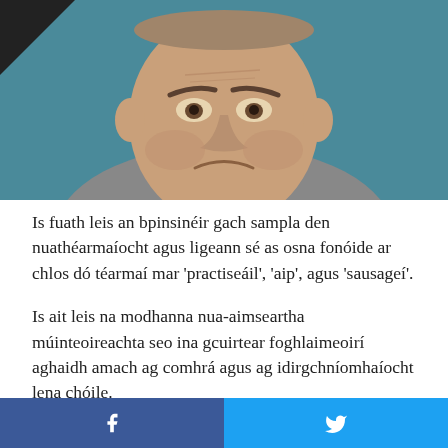[Figure (photo): Close-up portrait of an elderly man with a frowning/displeased expression, wearing a grey blazer, against a teal background. A dark triangular bookmark shape is in the top-left corner.]
Is fuath leis an bpinsinéir gach sampla den nuathéarmaíocht agus ligeann sé as osna fonóide ar chlos dó téarmaí mar 'practiseáil', 'aip', agus 'sausageí'.
Is ait leis na modhanna nua-aimseartha múinteoireachta seo ina gcuirtear foghlaimeoirí aghaidh amach ag comhrá agus ag idirgchníomhaíocht lena chóile.
[Figure (infographic): Social media sharing bar at the bottom: left half is Facebook blue with 'f' icon, right half is Twitter blue with bird icon.]